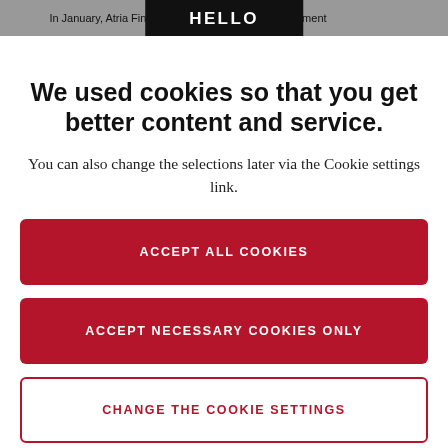In January, Atria Finland... efficiency improvement
HELLO
We used cookies so that you get better content and service.
You can also change the selections later via the Cookie settings link.
ACCEPT ALL COOKIES
ACCEPT NECESSARY COOKIES ONLY
CHANGE THE COOKIE SETTINGS